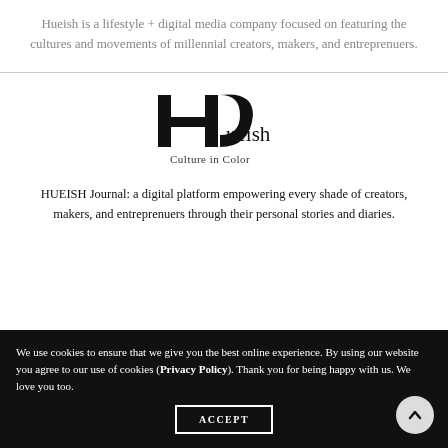Hueish is a lifestyle + digital media company focused on featuring the cultures and movements of millennial creators, makers, and entreprenuers.
[Figure (logo): Hueish logo with stylized H symbol and tagline 'Culture in Color']
HUEISH Journal: a digital platform empowering every shade of creators, makers, and entreprenuers through their personal stories and diaries.
We use cookies to ensure that we give you the best online experience. By using our website you agree to our use of cookies (Privacy Policy). Thank you for being happy with us. We love you too.
ACCEPT